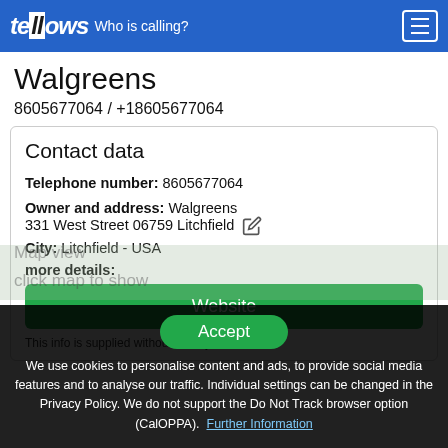tellows – Who is calling?
Walgreens
8605677064 / +18605677064
Contact data
Telephone number: 8605677064
Owner and address: Walgreens 331 West Street 06759 Litchfield
City: Litchfield - USA
more details:
Website
This info is supplied without liability
Accept
We use cookies to personalise content and ads, to provide social media features and to analyse our traffic. Individual settings can be changed in the Privacy Policy. We do not support the Do Not Track browser option (CalOPPA). Further Information